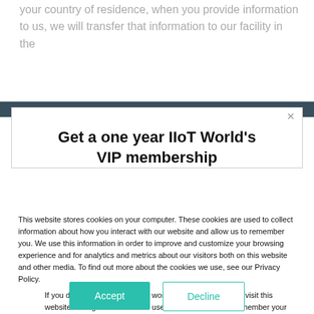your country of residence, when you provide information to us, we will transfer that information to our facility in the
[Figure (screenshot): Modal dialog with close X button and heading: Get a one year IIoT World's VIP membership]
Get a one year IIoT World's VIP membership
This website stores cookies on your computer. These cookies are used to collect information about how you interact with our website and allow us to remember you. We use this information in order to improve and customize your browsing experience and for analytics and metrics about our visitors both on this website and other media. To find out more about the cookies we use, see our Privacy Policy.
If you decline, your information won't be tracked when you visit this website. A single cookie will be used in your browser to remember your preference not to be tracked.